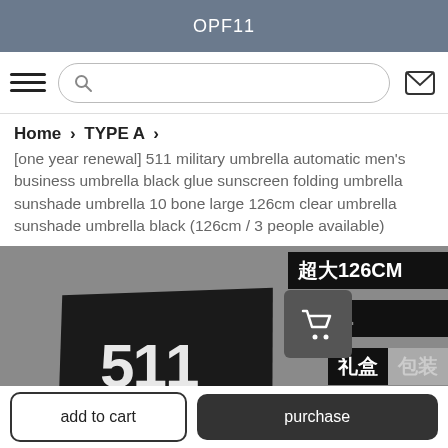OPF11
Home > TYPE A >
[one year renewal] 511 military umbrella automatic men's business umbrella black glue sunscreen folding umbrella sunshade umbrella 10 bone large 126cm clear umbrella sunshade umbrella black (126cm / 3 people available)
[Figure (photo): Product photo of a black 511 umbrella box on a grey background, with Chinese text overlays on the right reading 超大126CM, 终身..., 礼盒包装, and a shopping cart icon overlay]
add to cart
purchase